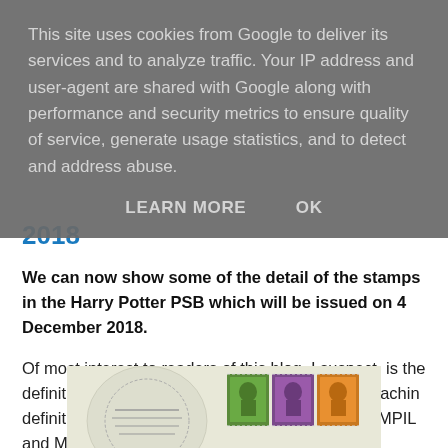This site uses cookies from Google to deliver its services and to analyze traffic. Your IP address and user-agent are shared with Google along with performance and security metrics to ensure quality of service, generate usage statistics, and to detect and address abuse.
LEARN MORE   OK
2018
We can now show some of the detail of the stamps in the Harry Potter PSB which will be issued on 4 December 2018.
Of most interest to readers of this blog, I suspect, is the definitive pane.  This contains two 'sets' of four Machin definitives, 1p, 20p, 50p and £1.25.  All have the MPIL and M18L source and year codes, as is to be expected.
[Figure (photo): Partial image of Harry Potter stamp booklet pane showing Machin definitive stamps with green, purple and orange stamp colors visible at the bottom of the page]